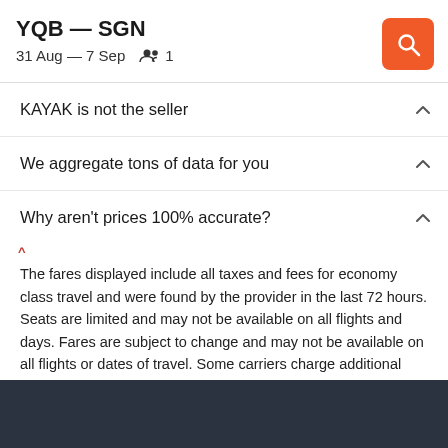YQB — SGN
31 Aug — 7 Sep  👥 1
KAYAK is not the seller
We aggregate tons of data for you
Why aren't prices 100% accurate?
The fares displayed include all taxes and fees for economy class travel and were found by the provider in the last 72 hours. Seats are limited and may not be available on all flights and days. Fares are subject to change and may not be available on all flights or dates of travel. Some carriers charge additional fees for extra checked bags. Please check the carriers' sites.